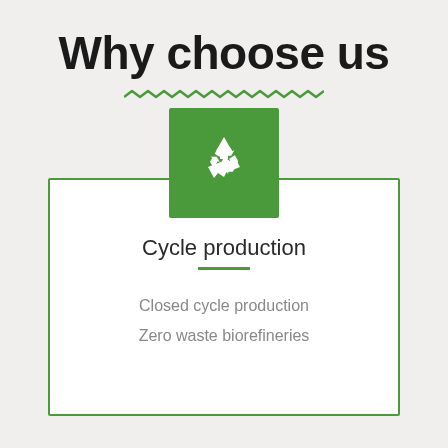Why choose us
[Figure (infographic): Green square icon with white recycling symbol (three chasing arrows)]
Cycle production
Closed cycle production
Zero waste biorefineries